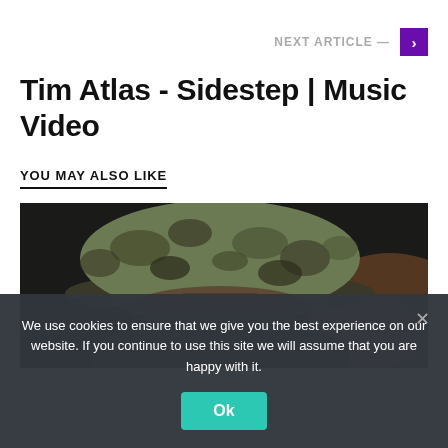NEXT ARTICLE —
Tim Atlas - Sidestep | Music Video
YOU MAY ALSO LIKE
[Figure (photo): A person wearing a camouflage bucket hat, viewed from behind/side angle, in a dark environment with warm bokeh lighting.]
We use cookies to ensure that we give you the best experience on our website. If you continue to use this site we will assume that you are happy with it.
Ok